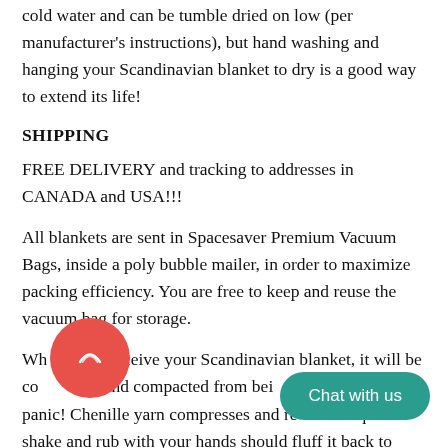cold water and can be tumble dried on low (per manufacturer's instructions), but hand washing and hanging your Scandinavian blanket to dry is a good way to extend its life!
SHIPPING
FREE DELIVERY and tracking to addresses in CANADA and USA!!!
All blankets are sent in Spacesaver Premium Vacuum Bags, inside a poly bubble mailer, in order to maximize packing efficiency. You are free to keep and reuse the vacuum bag for storage.
When you receive your Scandinavian blanket, it will be compressed and compacted from being vacuum sealed – don't panic! Chenille yarn compresses and recovers quickly! A quick shake and rub with your hands should fluff it back to